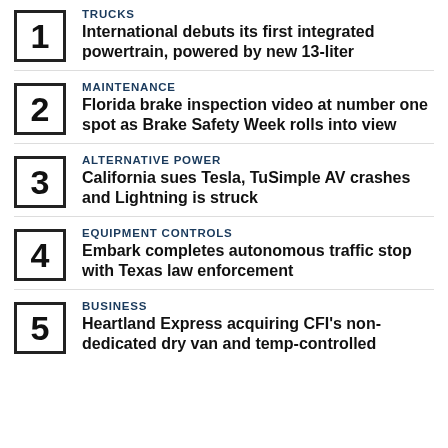TRUCKS
International debuts its first integrated powertrain, powered by new 13-liter
MAINTENANCE
Florida brake inspection video at number one spot as Brake Safety Week rolls into view
ALTERNATIVE POWER
California sues Tesla, TuSimple AV crashes and Lightning is struck
EQUIPMENT CONTROLS
Embark completes autonomous traffic stop with Texas law enforcement
BUSINESS
Heartland Express acquiring CFI's non-dedicated dry van and temp-controlled truckload business